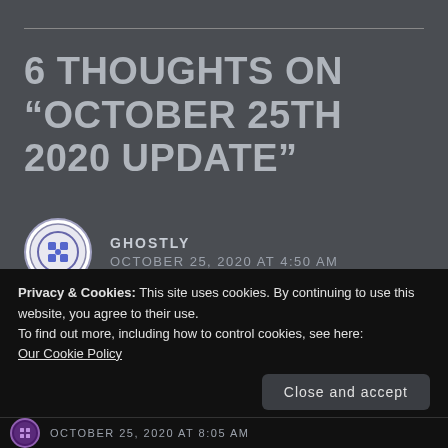6 THOUGHTS ON “OCTOBER 25TH 2020 UPDATE”
GHOSTLY
OCTOBER 25, 2020 AT 4:50 AM
I can’t wait!! Time seems to be going at a crawl for this book.😂
Privacy & Cookies: This site uses cookies. By continuing to use this website, you agree to their use.
To find out more, including how to control cookies, see here:
Our Cookie Policy
Close and accept
OCTOBER 25, 2020 AT 8:05 AM